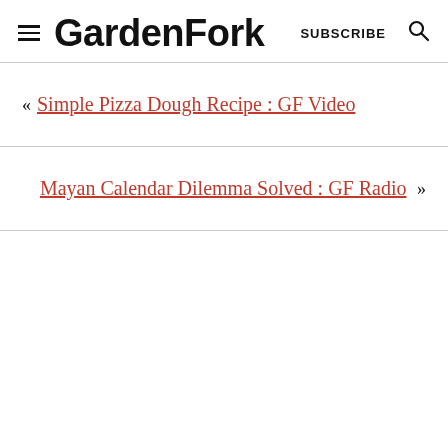GardenFork  SUBSCRIBE
« Simple Pizza Dough Recipe : GF Video
Mayan Calendar Dilemma Solved : GF Radio »